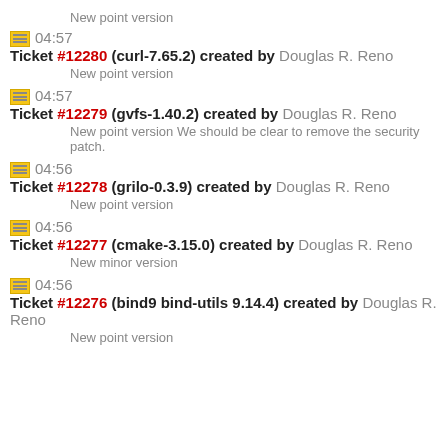New point version
04:57 Ticket #12280 (curl-7.65.2) created by Douglas R. Reno
New point version
04:57 Ticket #12279 (gvfs-1.40.2) created by Douglas R. Reno
New point version We should be clear to remove the security patch.
04:56 Ticket #12278 (grilo-0.3.9) created by Douglas R. Reno
New point version
04:56 Ticket #12277 (cmake-3.15.0) created by Douglas R. Reno
New minor version
04:56 Ticket #12276 (bind9 bind-utils 9.14.4) created by Douglas R. Reno
New point version